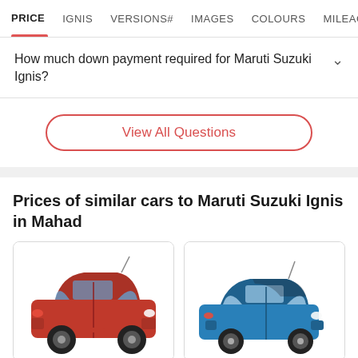PRICE  IGNIS  VERSIONS#  IMAGES  COLOURS  MILEAGE
How much down payment required for Maruti Suzuki Ignis?
View All Questions
Prices of similar cars to Maruti Suzuki Ignis in Mahad
[Figure (photo): Red Maruti Suzuki WagonR car photo]
[Figure (photo): Blue small hatchback car photo (partially visible)]